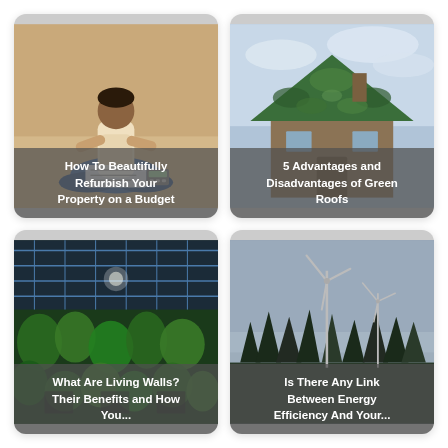[Figure (photo): Person sitting cross-legged on floor reviewing documents and papers, with a calculator nearby. Indoor setting with warm lighting.]
How To Beautifully Refurbish Your Property on a Budget
[Figure (photo): House with a green moss/grass-covered roof against a cloudy sky.]
5 Advantages and Disadvantages of Green Roofs
[Figure (photo): Interior glass ceiling with solar panels and a green living wall with plants covering a building facade.]
What Are Living Walls? Their Benefits and How You...
[Figure (photo): Wind turbines in a misty forested landscape with overcast sky.]
Is There Any Link Between Energy Efficiency And Your...